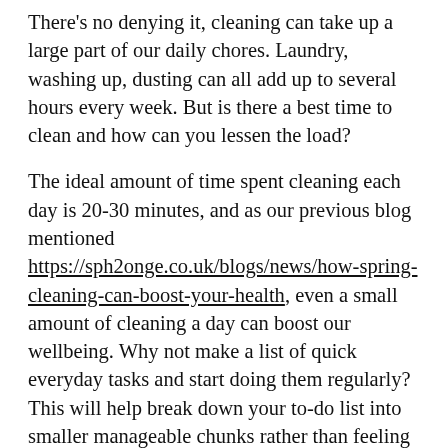There's no denying it, cleaning can take up a large part of our daily chores. Laundry, washing up, dusting can all add up to several hours every week. But is there a best time to clean and how can you lessen the load?
The ideal amount of time spent cleaning each day is 20-30 minutes, and as our previous blog mentioned https://sph2onge.co.uk/blogs/news/how-spring-cleaning-can-boost-your-health, even a small amount of cleaning a day can boost our wellbeing. Why not make a list of quick everyday tasks and start doing them regularly? This will help break down your to-do list into smaller manageable chunks rather than feeling like it will take up your whole weekend!
When it comes to a preferred day, this will depend